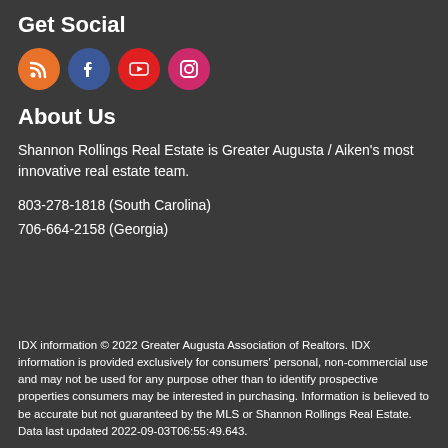Get Social
[Figure (illustration): Four circular social media icons in a row: RSS (orange), Facebook (blue), YouTube (red), Instagram (pink/magenta)]
About Us
Shannon Rollings Real Estate is Greater Augusta / Aiken's most innovative real estate team.
803-278-1818 (South Carolina)
706-664-2158 (Georgia)
IDX information © 2022 Greater Augusta Association of Realtors. IDX information is provided exclusively for consumers' personal, non-commercial use and may not be used for any purpose other than to identify prospective properties consumers may be interested in purchasing. Information is believed to be accurate but not guaranteed by the MLS or Shannon Rollings Real Estate. Data last updated 2022-09-03T06:55:49.643.